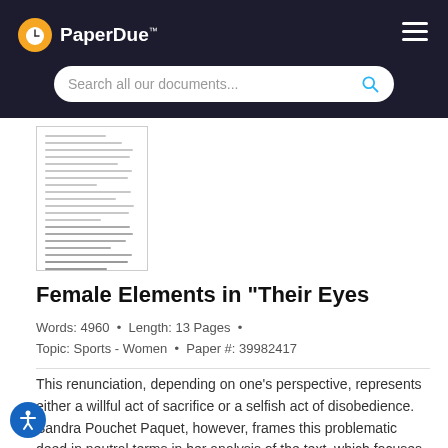PaperDue™
[Figure (screenshot): Search bar with placeholder text 'Search all our documents...' and a blue search icon, on a dark background]
[Figure (photo): Thumbnail preview of a document page with text lines]
Female Elements in "Their Eyes
Words: 4960  •  Length: 13 Pages  •
Topic: Sports - Women  •  Paper #: 39982417
This renunciation, depending on one's perspective, represents either a willful act of sacrifice or a selfish act of disobedience. Sandra Pouchet Paquet, however, frames this problematic deed in neutral terms in her analysis of the text, which focuses on its ambivalence toward the role of